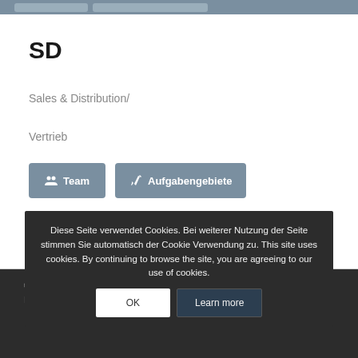[Figure (screenshot): Top navigation bar with two button placeholders in grey/blue]
SD
Sales & Distribution/
Vertrieb
[Figure (screenshot): Two buttons: Team and Aufgabengebiete]
© Copyright - CCHH Homepage - by Enfold WordPress Theme
Impressum  Datenschutz  Anreise  Kontakt
Diese Seite verwendet Cookies. Bei weiterer Nutzung der Seite stimmen Sie automatisch der Cookie Verwendung zu. This site uses cookies. By continuing to browse the site, you are agreeing to our use of cookies.